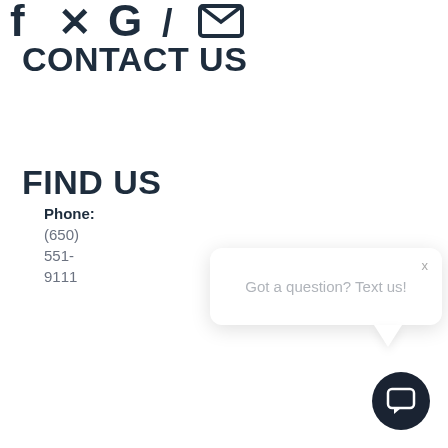[Figure (illustration): Social media icons (Facebook, Twitter/X, Google, Pinterest, envelope) partially cropped at top of page]
CONTACT US
Phone:
(650) 551-9111
FIND US
[Figure (screenshot): Chat widget popup with text 'Got a question? Text us!' and a dark circular chat button below it]